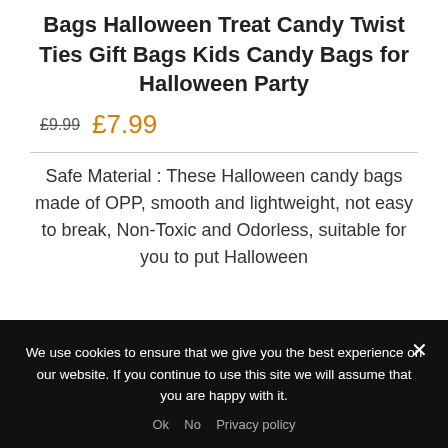Bags Halloween Treat Candy Twist Ties Gift Bags Kids Candy Bags for Halloween Party
£9.99  £7.99
Safe Material : These Halloween candy bags made of OPP, smooth and lightweight, not easy to break, Non-Toxic and Odorless, suitable for you to put Halloween
We use cookies to ensure that we give you the best experience on our website. If you continue to use this site we will assume that you are happy with it.
Ok  No  Privacy policy